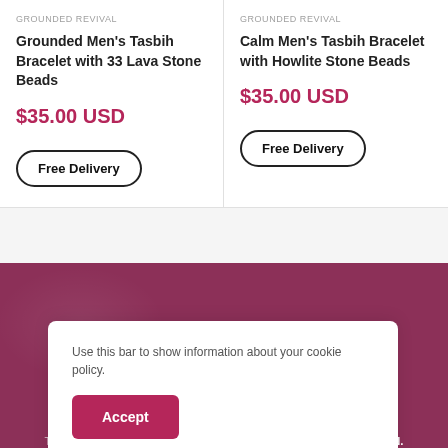GROUNDED REVIVAL
Grounded Men's Tasbih Bracelet with 33 Lava Stone Beads
$35.00 USD
Free Delivery
GROUNDED REVIVAL
Calm Men's Tasbih Bracelet with Howlite Stone Beads
$35.00 USD
Free Delivery
Use this bar to show information about your cookie policy.
Accept
Tag us to be featured @modasty_en with #MODASTYREVOLUTION.